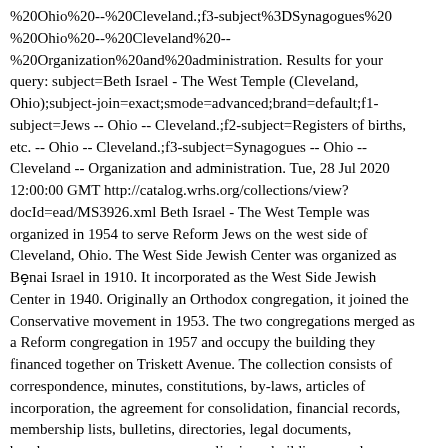%20Ohio%20--%20Cleveland.;f3-subject%3DSynagogues%20 %20Ohio%20--%20Cleveland%20-- %20Organization%20and%20administration. Results for your query: subject=Beth Israel - The West Temple (Cleveland, Ohio);subject-join=exact;smode=advanced;brand=default;f1-subject=Jews -- Ohio -- Cleveland.;f2-subject=Registers of births, etc. -- Ohio -- Cleveland.;f3-subject=Synagogues -- Ohio -- Cleveland -- Organization and administration. Tue, 28 Jul 2020 12:00:00 GMT http://catalog.wrhs.org/collections/view?docId=ead/MS3926.xml Beth Israel - The West Temple was organized in 1954 to serve Reform Jews on the west side of Cleveland, Ohio. The West Side Jewish Center was organized as Bȩnai Israel in 1910. It incorporated as the West Side Jewish Center in 1940. Originally an Orthodox congregation, it joined the Conservative movement in 1953. The two congregations merged as a Reform congregation in 1957 and occupy the building they financed together on Triskett Avenue. The collection consists of correspondence, minutes, constitutions, by-laws, articles of incorporation, the agreement for consolidation, financial records, membership lists, bulletins, directories, legal documents, brochures, programs, newspaper clippings, building records, cemetery records and miscellany relating to Beth Israel - The West Temple and to the West Side Jewish Center. http://catalog.wrhs.org/collections/view?docId=ead/MS3926.xml Wed, 01 Jan 2014 12:00:00 GMT